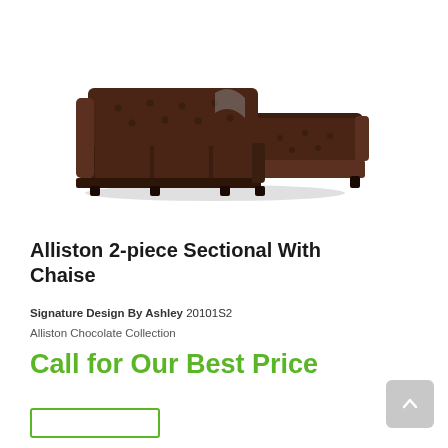[Figure (photo): Dark brown leather L-shaped sectional sofa with chaise, tufted back cushions, viewed from a slight angle on a white background.]
Alliston 2-piece Sectional With Chaise
Signature Design By Ashley 20101S2
Alliston Chocolate Collection
Call for Our Best Price